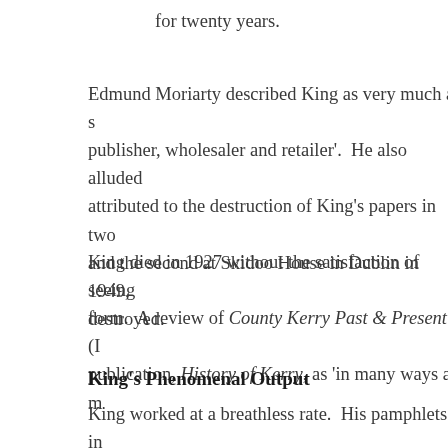for twenty years.
Edmund Moriarty described King as very much a s publisher, wholesaler and retailer'.  He also alluded attributed to the destruction of King’s papers in two and the second at Skidoo House in Dublin in 1949, destroyed.
King died in 1927 without the satisfaction of seeing form.  A review of County Kerry Past & Present (I publication, History of Kerry, as ‘in many ways a m
King’s Phenomenal Output
King worked at a breathless rate.  His pamphlets in Bibliography of Irish Pictorial Postcards (1903), K